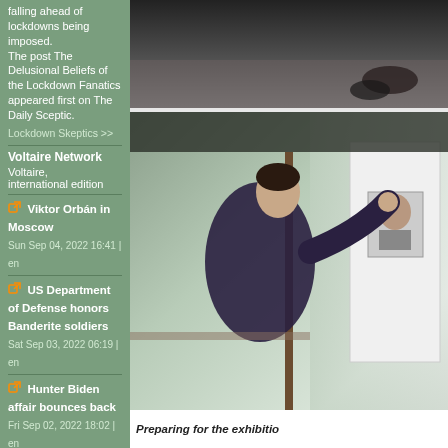falling ahead of lockdowns being imposed. The post The Delusional Beliefs of the Lockdown Fanatics appeared first on The Daily Sceptic.
Lockdown Skeptics >>
Voltaire Network
Voltaire, international edition
Viktor Orbán in Moscow Sun Sep 04, 2022 16:41 | en
US Department of Defense honors Banderite soldiers Sat Sep 03, 2022 06:19 | en
Hunter Biden affair bounces back Fri Sep 02, 2022 18:02 | en
[Figure (photo): Top photo showing feet on carpet, dark background]
[Figure (photo): Man in dark sweater preparing an exhibition, pinning a portrait photo to a white wall in a dimly lit room]
Preparing for the exhibitio